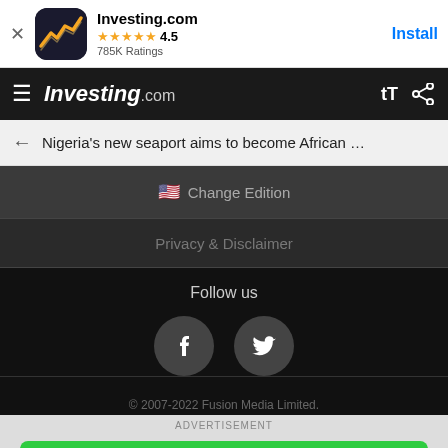[Figure (screenshot): App store banner for Investing.com app with icon, 4.5 star rating, 785K Ratings, and Install button]
Investing.com navigation bar with hamburger menu and share icon
Nigeria's new seaport aims to become African ...
🇺🇸 Change Edition
Privacy & Disclaimer
Follow us
[Figure (logo): Facebook and Twitter social media icons in dark grey circles]
© 2007-2022 Fusion Media Limited.
ADVERTISEMENT
Start Trading | AD |